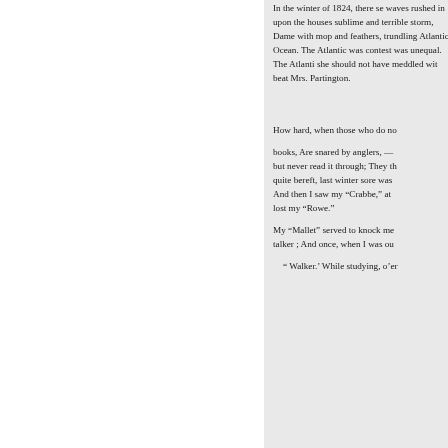In the winter of 1824, there se waves rushed in upon the houses sublime and terrible storm, Dam with mop and feathers, trundling Atlantic Ocean. The Atlantic was contest was unequal. The Atlanti she should not have meddled wit beat Mrs. Partington.
How hard, when those who do n books, Are snared by anglers, — but never read it through; They t quite bereft, last winter sore was And then I saw my "Crabbe," at lost my "Rowe."
My "Mallet" served to knock me talker ; And once, when I was ou
" Walker.' While studying, o'er